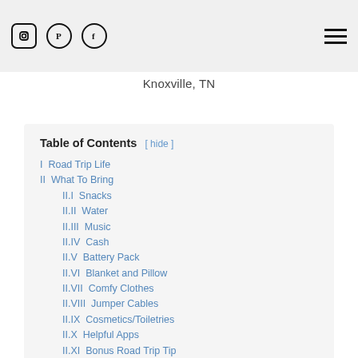Social icons: Instagram, Pinterest, Facebook | Hamburger menu | Location: Knoxville, TN
Knoxville, TN
| I  Road Trip Life |
| II  What To Bring |
| II.I  Snacks |
| II.II  Water |
| II.III  Music |
| II.IV  Cash |
| II.V  Battery Pack |
| II.VI  Blanket and Pillow |
| II.VII  Comfy Clothes |
| II.VIII  Jumper Cables |
| II.IX  Cosmetics/Toiletries |
| II.X  Helpful Apps |
| II.XI  Bonus Road Trip Tip |